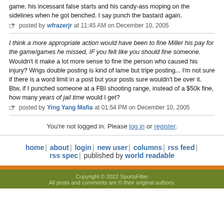game, his incessant false starts and his candy-ass moping on the sidelines when he got benched. I say punch the bastard again.
posted by wfrazerjr at 11:45 AM on December 10, 2005
I think a more appropriate action would have been to fine Miller his pay for the game/games he missed, IF you felt like you should fine someone. Wouldn't it make a lot more sense to fine the person who caused his injury? Wrigs double posting is kind of lame but tripe posting... I'm not sure if there is a word limit in a post but your posts sure wouldn't be over it. Btw, if I punched someone at a FBI shooting range, instead of a $50k fine, how many years of jail time would I get?
posted by Ying Yang Mafia at 01:54 PM on December 10, 2005
You're not logged in. Please log in or register.
home | about | login | new user | columns | rss feed | rss spec | published by world readable
Copyright © 2022 SportsFilter
All posts and comments are © their original authors.